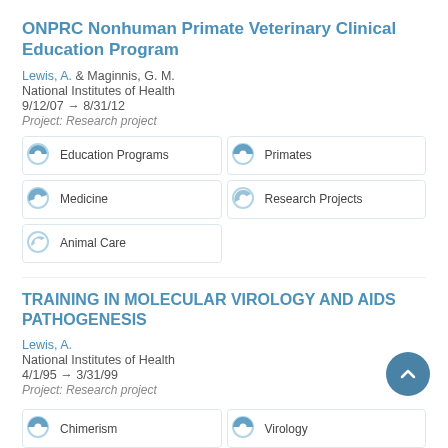ONPRC Nonhuman Primate Veterinary Clinical Education Program
Lewis, A. & Maginnis, G. M.
National Institutes of Health
9/12/07 → 8/31/12
Project: Research project
Education Programs
Primates
Medicine
Research Projects
Animal Care
TRAINING IN MOLECULAR VIROLOGY AND AIDS PATHOGENESIS
Lewis, A.
National Institutes of Health
4/1/95 → 3/31/99
Project: Research project
Chimerism
Virology